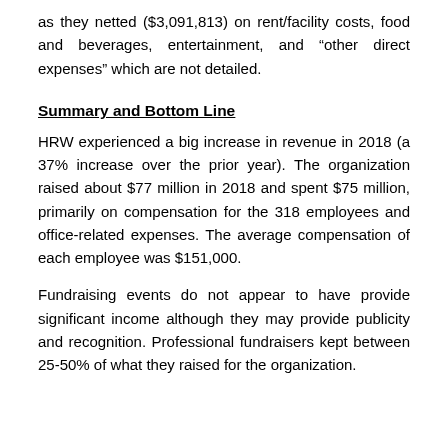as they netted ($3,091,813) on rent/facility costs, food and beverages, entertainment, and “other direct expenses” which are not detailed.
Summary and Bottom Line
HRW experienced a big increase in revenue in 2018 (a 37% increase over the prior year). The organization raised about $77 million in 2018 and spent $75 million, primarily on compensation for the 318 employees and office-related expenses. The average compensation of each employee was $151,000.
Fundraising events do not appear to have provide significant income although they may provide publicity and recognition. Professional fundraisers kept between 25-50% of what they raised for the organization.